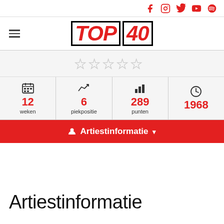Social media icons: Facebook, Instagram, Twitter, YouTube, Spotify
[Figure (logo): TOP 40 logo in bold italic black with red letters, outlined boxes]
[Figure (infographic): Five empty star rating icons in a row]
|  |  |  |  |
| --- | --- | --- | --- |
| 12 weken | 6 piekpositie | 289 punten | 1968 |
Artiestinformatie
Artiestinformatie